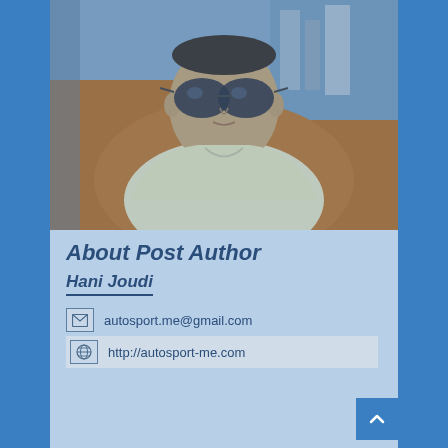[Figure (photo): Author photo: man wearing sunglasses and light yellow polo shirt, seated inside a car with orange leather interior, photographed from driver's perspective]
About Post Author
Hani Joudi
autosport.me@gmail.com
http://autosport-me.com